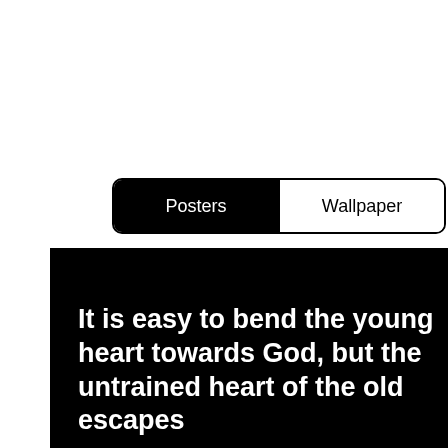[Figure (screenshot): Tab bar UI with two options: 'Posters' (selected, black background) and 'Wallpaper' (unselected, white background), with rounded border.]
It is easy to bend the young heart towards God, but the untrained heart of the old escapes